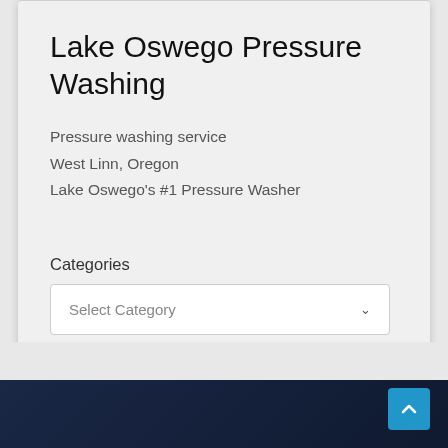Lake Oswego Pressure Washing
Pressure washing service
West Linn, Oregon
Lake Oswego's #1 Pressure Washer
Categories
Select Category
[Figure (screenshot): Dark navy textured footer bar at the bottom of the page with a blue scroll-to-top button (chevron up icon) in the bottom-right corner]